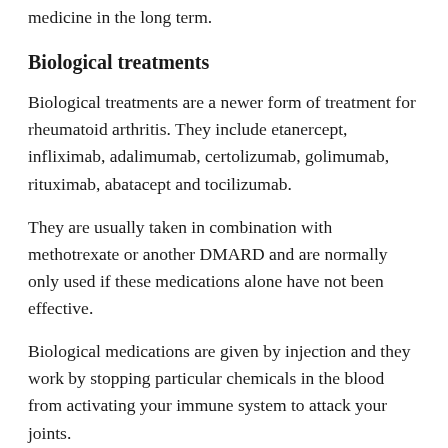medicine in the long term.
Biological treatments
Biological treatments are a newer form of treatment for rheumatoid arthritis. They include etanercept, infliximab, adalimumab, certolizumab, golimumab, rituximab, abatacept and tocilizumab.
They are usually taken in combination with methotrexate or another DMARD and are normally only used if these medications alone have not been effective.
Biological medications are given by injection and they work by stopping particular chemicals in the blood from activating your immune system to attack your joints.